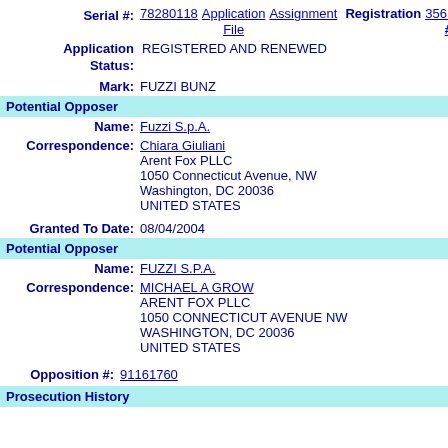Serial #: 78280118 Application File Assignment Registration #: 3561094
Application Status: REGISTERED AND RENEWED
Mark: FUZZI BUNZ
Potential Opposer
Name: Fuzzi S.p.A.
Correspondence: Chiara Giuliani
Arent Fox PLLC
1050 Connecticut Avenue, NW
Washington, DC 20036
UNITED STATES
Granted To Date: 08/04/2004
Potential Opposer
Name: FUZZI S.P.A.
Correspondence: MICHAEL A GROW
ARENT FOX PLLC
1050 CONNECTICUT AVENUE NW
WASHINGTON, DC 20036
UNITED STATES
Opposition #: 91161760
Prosecution History